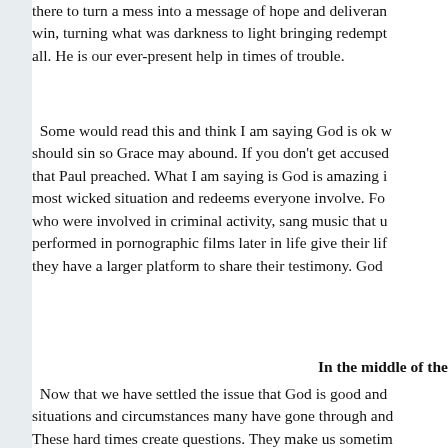there to turn a mess into a message of hope and deliverance and always win, turning what was darkness to light bringing redemption to all. He is our ever-present help in times of trouble.
Some would read this and think I am saying God is ok w should sin so Grace may abound. If you don't get accused that Paul preached. What I am saying is God is amazing i most wicked situation and redeems everyone involve. Fo who were involved in criminal activity, sang music that u performed in pornographic films later in life give their lif they have a larger platform to share their testimony. God
In the middle of the
Now that we have settled the issue that God is good and situations and circumstances many have gone through and These hard times create questions. They make us sometim
This is what I like to call living in the middle of the myst response of belief yet the answer seems not to be manifes